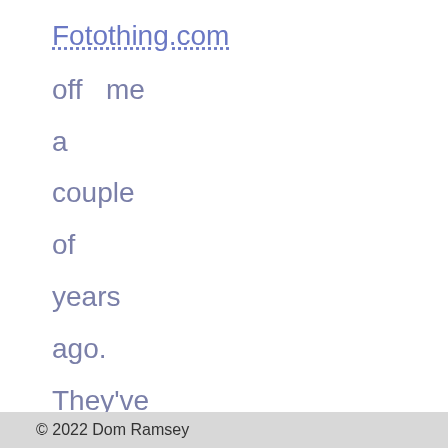Fotothing.com
off   me
a
couple
of
years
ago.
They've
done
an   OK
job   of
taking
the
© 2022 Dom Ramsey